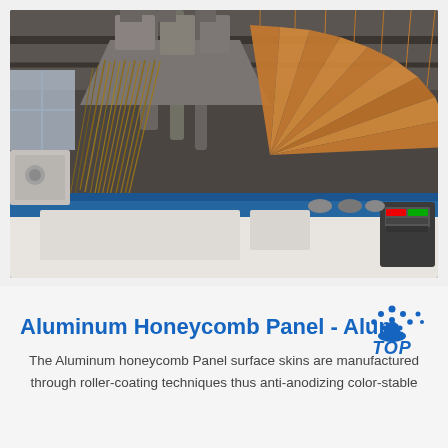[Figure (photo): Industrial manufacturing facility showing a roller-coating or anodizing production line with aluminum panels being processed. Heavy machinery, ducts, and a fan-shaped array of copper/bronze colored metal sheets on a conveyor line are visible. Blue industrial equipment in the foreground.]
Aluminum Honeycomb Panel - AlumTop
The Aluminum honeycomb Panel surface skins are manufactured through roller-coating techniques thus anti-anodizing color-stable